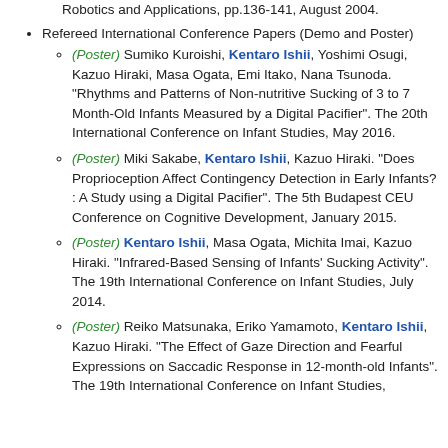Robotics and Applications, pp.136-141, August 2004.
Refereed International Conference Papers (Demo and Poster)
(Poster) Sumiko Kuroishi, Kentaro Ishii, Yoshimi Osugi, Kazuo Hiraki, Masa Ogata, Emi Itako, Nana Tsunoda. "Rhythms and Patterns of Non-nutritive Sucking of 3 to 7 Month-Old Infants Measured by a Digital Pacifier". The 20th International Conference on Infant Studies, May 2016.
(Poster) Miki Sakabe, Kentaro Ishii, Kazuo Hiraki. "Does Proprioception Affect Contingency Detection in Early Infants? : A Study using a Digital Pacifier". The 5th Budapest CEU Conference on Cognitive Development, January 2015.
(Poster) Kentaro Ishii, Masa Ogata, Michita Imai, Kazuo Hiraki. "Infrared-Based Sensing of Infants' Sucking Activity". The 19th International Conference on Infant Studies, July 2014.
(Poster) Reiko Matsunaka, Eriko Yamamoto, Kentaro Ishii, Kazuo Hiraki. "The Effect of Gaze Direction and Fearful Expressions on Saccadic Response in 12-month-old Infants". The 19th International Conference on Infant Studies, ...